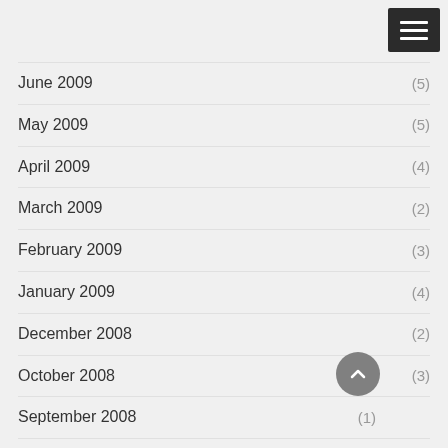June 2009 (5)
May 2009 (5)
April 2009 (4)
March 2009 (2)
February 2009 (3)
January 2009 (4)
December 2008 (2)
October 2008 (3)
September 2008 (1)
August 2008 (1)